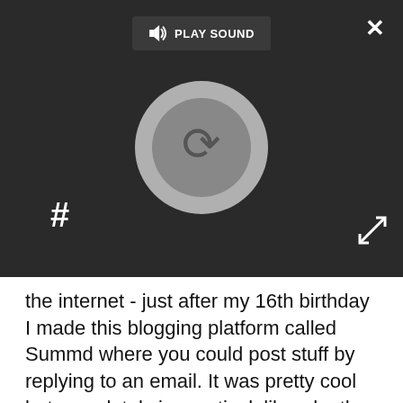[Figure (screenshot): Dark media player with PLAY SOUND button, a circular spinner/loading icon, pause button, close (X) button, and expand arrows.]
the internet - just after my 16th birthday I made this blogging platform called Summd where you could post stuff by replying to an email. It was pretty cool but completely impractical, like why the hell would you want to blog by replying to an email?
What are you working on now?
Right now I'm working hard on the new Wunderlist site. Wunderlist 3 is launching in the next couple of months and we're very excited because we've built something incredible but from what I can th…